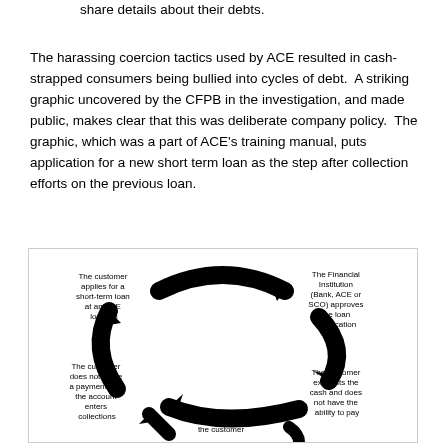share details about their debts.
The harassing coercion tactics used by ACE resulted in cash-strapped consumers being bullied into cycles of debt. A striking graphic uncovered by the CFPB in the investigation, and made public, makes clear that this was deliberate company policy. The graphic, which was a part of ACE’s training manual, puts application for a new short term loan as the step after collection efforts on the previous loan.
[Figure (flowchart): Circular flowchart showing the ACE debt cycle: The customer applies for a short-term loan at an ACE location → The Financial Institution (Bank, ACE or SCO) approves the loan application → The customer exhausts the cash and does not have the ability to pay → ACE contacts the customer → The customer does not make a payment and the account enters collections → (back to start)]